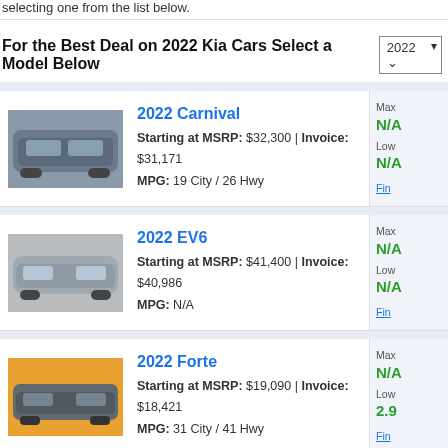selecting one from the list below.
For the Best Deal on 2022 Kia Cars Select a Model Below
[Figure (photo): 2022 Kia Carnival SUV in grey-blue color]
2022 Carnival
Starting at MSRP: $32,300 | Invoice: $31,171
MPG: 19 City / 26 Hwy
[Figure (photo): 2022 Kia EV6 electric vehicle in white/silver]
2022 EV6
Starting at MSRP: $41,400 | Invoice: $40,986
MPG: N/A
[Figure (photo): 2022 Kia Forte sedan in grey with sunset background]
2022 Forte
Starting at MSRP: $19,090 | Invoice: $18,421
MPG: 31 City / 41 Hwy